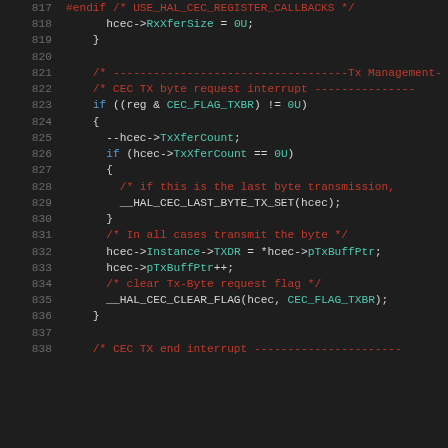[Figure (screenshot): Source code screenshot showing C code lines 817-838 for CEC HAL driver, with syntax highlighting. Dark background IDE view showing register callbacks, RxXferSize, TX byte request interrupt handling, TxXferCount, last byte transmission, TXDR register write, buffer pointer increment, and TX end interrupt comment.]